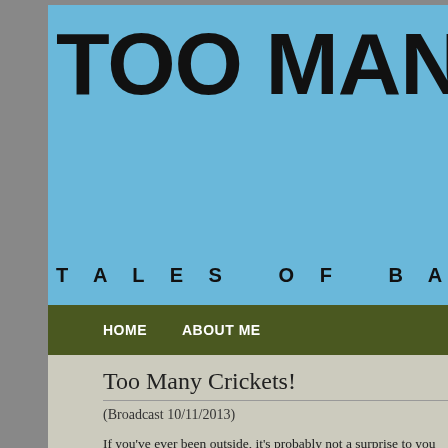TOO MANY C[RICKETS] — TALES OF BACKY[ARD]
HOME   ABOUT ME
Too Many Crickets!
(Broadcast 10/11/2013)
If you've ever been outside, it's probably not a surprise to you that there are things ou[t there] — tigers, bears – that whole nature trip. I often scan the darkness with my headlamp whi[le] see if I'm alone out there or not. I usually am, at least that I can see. But I think that's o[k] enough to have eyes that would reflect back at me. Certainly the tree frogs have been[...] chilly, and the wooly bear caterpillars seem to like our front steps, though sometimes i[t's] come to die. I fear we may be living on top of some sort of wooly bear burial ground. B[...] so I may never know. When I go out to take care of the chickens and it's dark out, I oft[en] spiderwebs on the coop are a giveaway, but surely there are other things out there bes[...] did I spend so much time on coop security?